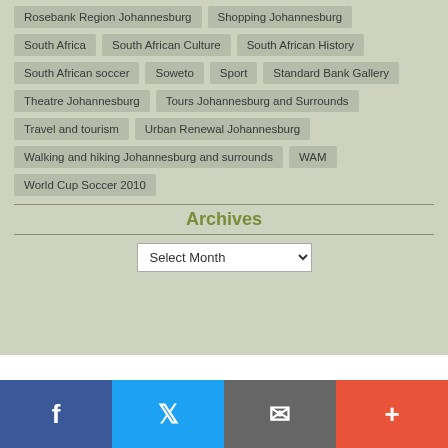Rosebank Region Johannesburg
Shopping Johannesburg
South Africa
South African Culture
South African History
South African soccer
Soweto
Sport
Standard Bank Gallery
Theatre Johannesburg
Tours Johannesburg and Surrounds
Travel and tourism
Urban Renewal Johannesburg
Walking and hiking Johannesburg and surrounds
WAM
World Cup Soccer 2010
Archives
Select Month
Copyright © 2015 - Liz at Lancaster
Website design & hosting by S² Web Solutions | Johannesburg SEO by